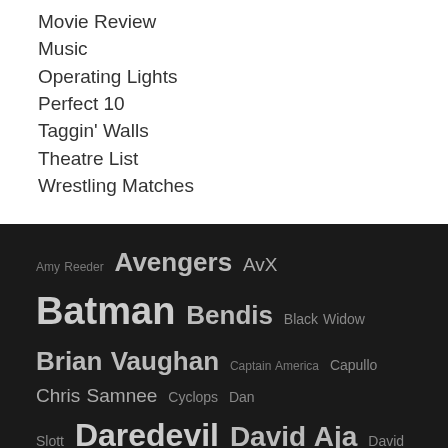Movie Review
Music
Operating Lights
Perfect 10
Taggin' Walls
Theatre List
Wrestling Matches
[Figure (infographic): Tag cloud on dark background featuring comic book related names and terms in varying sizes. Largest tags: Batman, Avengers, Daredevil, David Aja, Brian Vaughan, Hawkeye, Hickman, Jamie McKelvie, Jason Aaron. Medium tags: Bendis, Black Widow, AvX, Capullo, Chris Samnee, Cyclops, Dan Slott, David Mack, Deadly Class, Death of the Family, Declan Shalvey, Emma Rios, Fiona Staples, Flash, Francis Manapul, Geoff Johns, Gleason, Green Lantern, Hollingsworth, Hulk, Javier. Small tags: Amy Reeder, Captain America.]